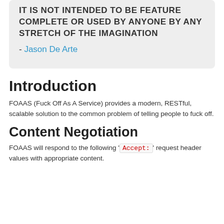IT IS NOT INTENDED TO BE FEATURE COMPLETE OR USED BY ANYONE BY ANY STRETCH OF THE IMAGINATION
 - Jason De Arte
Introduction
FOAAS (Fuck Off As A Service) provides a modern, RESTful, scalable solution to the common problem of telling people to fuck off.
Content Negotiation
FOAAS will respond to the following 'Accept:' request header values with appropriate content.